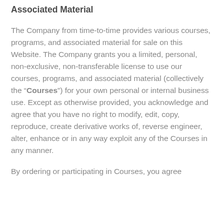Associated Material
The Company from time-to-time provides various courses, programs, and associated material for sale on this Website. The Company grants you a limited, personal, non-exclusive, non-transferable license to use our courses, programs, and associated material (collectively the “Courses”) for your own personal or internal business use. Except as otherwise provided, you acknowledge and agree that you have no right to modify, edit, copy, reproduce, create derivative works of, reverse engineer, alter, enhance or in any way exploit any of the Courses in any manner.
By ordering or participating in Courses, you agree